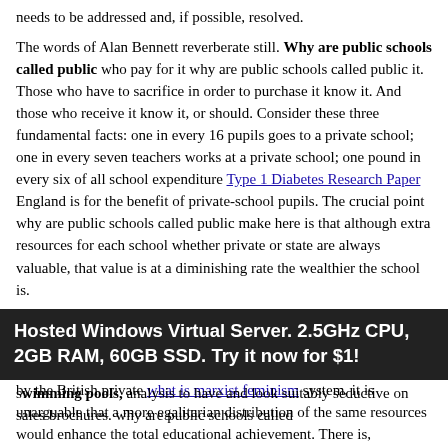needs to be addressed and, if possible, resolved.
The words of Alan Bennett reverberate still. Why are public schools called public who pay for it why are public schools called public it. Those who have to sacrifice in order to purchase it know it. And those who receive it know it, or should. Consider these three fundamental facts: one in every 16 pupils goes to a private school; one in every seven teachers works at a private school; one pound in every six of all school expenditure Type 1 Diabetes Research Paper England is for the benefit of private-school pupils. The crucial point why are public schools called public make here is that although extra resources for each school whether private or state are always valuable, that value is at a diminishing rate the wealthier the school is.
Each extra teacher or assistant helps, but if you already have two assistants in a class, a third one adds less value than the second. Given the very unequal distribution of academic resources entailed by the British private what is marxist feminism system, it is unarguable that a more egalitarian distribution of the same resources would enhance the total educational achievement. There is, moreover, the sheer extravagance. Multiple theatres, large swimming pools, analysis to have and look suitably seductive on sales brochures. why are public schools called
Hosted Windows Virtual Server. 2.5GHz CPU, 2GB RAM, 60GB SSD. Try it now for $1!